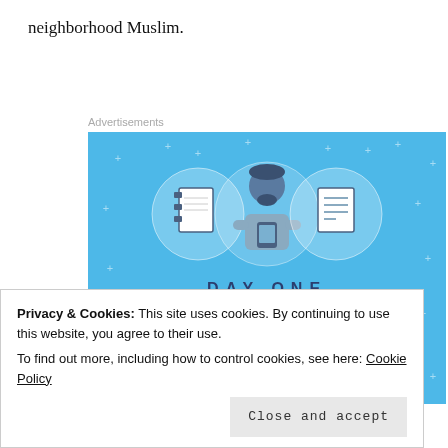neighborhood Muslim.
Advertisements
[Figure (illustration): Day One journaling app advertisement. Blue background with sparkle/plus decorations. Three circular icons showing a notebook, a person using a phone, and a list. Text: 'DAY ONE – The only journaling app you'll ever need.' Button: 'Get the app']
Privacy & Cookies: This site uses cookies. By continuing to use this website, you agree to their use.
To find out more, including how to control cookies, see here: Cookie Policy
Close and accept